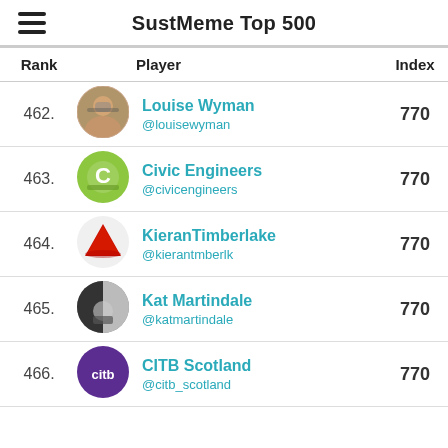SustMeme Top 500
| Rank | Player | Index |
| --- | --- | --- |
| 462. | Louise Wyman @louisewyman | 770 |
| 463. | Civic Engineers @civicengineers | 770 |
| 464. | KieranTimberlake @kierantmberlk | 770 |
| 465. | Kat Martindale @katmartindale | 770 |
| 466. | CITB Scotland @citb_scotland | 770 |